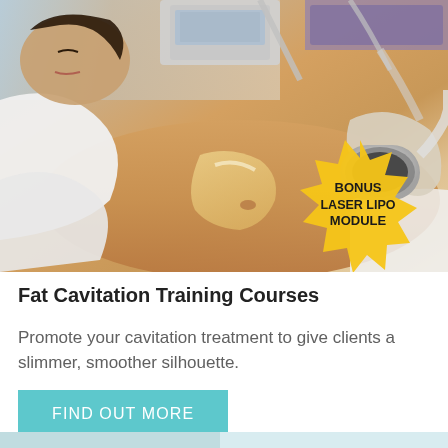[Figure (photo): A person lying on a treatment table receiving ultrasonic fat cavitation treatment on their abdomen from a practitioner wearing gloves. Medical equipment visible in background. A yellow starburst badge reads 'BONUS LASER LIPO MODULE'.]
Fat Cavitation Training Courses
Promote your cavitation treatment to give clients a slimmer, smoother silhouette.
FIND OUT MORE
[Figure (photo): Partial view of a second photo showing a person in light blue medical attire, partially visible at bottom of page.]